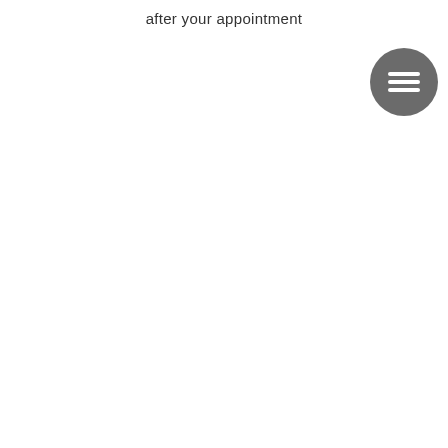after your appointment
[Figure (other): A circular dark grey button icon with three horizontal white lines (hamburger/menu icon)]